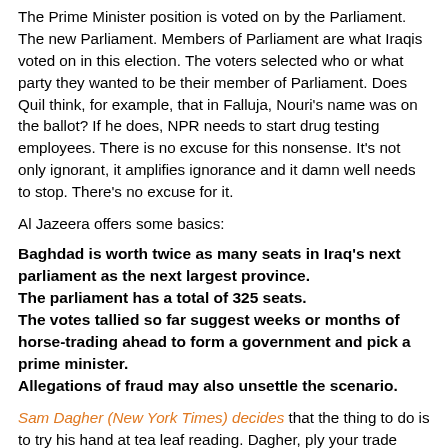The Prime Minister position is voted on by the Parliament. The new Parliament. Members of Parliament are what Iraqis voted on in this election. The voters selected who or what party they wanted to be their member of Parliament. Does Quil think, for example, that in Falluja, Nouri's name was on the ballot? If he does, NPR needs to start drug testing employees. There is no excuse for this nonsense. It's not only ignorant, it amplifies ignorance and it damn well needs to stop. There's no excuse for it.
Al Jazeera offers some basics:
Baghdad is worth twice as many seats in Iraq's next parliament as the next largest province.
The parliament has a total of 325 seats.
The votes tallied so far suggest weeks or months of horse-trading ahead to form a government and pick a prime minister.
Allegations of fraud may also unsettle the scenario.
Sam Dagher (New York Times) decides that the thing to do is to try his hand at tea leaf reading. Dagher, ply your trade